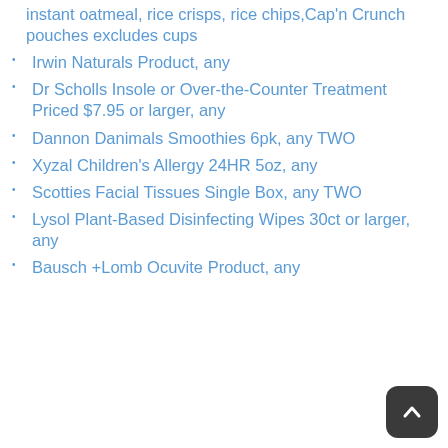instant oatmeal, rice crisps, rice chips,Cap'n Crunch pouches excludes cups
Irwin Naturals Product, any
Dr Scholls Insole or Over-the-Counter Treatment Priced $7.95 or larger, any
Dannon Danimals Smoothies 6pk, any TWO
Xyzal Children's Allergy 24HR 5oz, any
Scotties Facial Tissues Single Box, any TWO
Lysol Plant-Based Disinfecting Wipes 30ct or larger, any
Bausch +Lomb Ocuvite Product, any